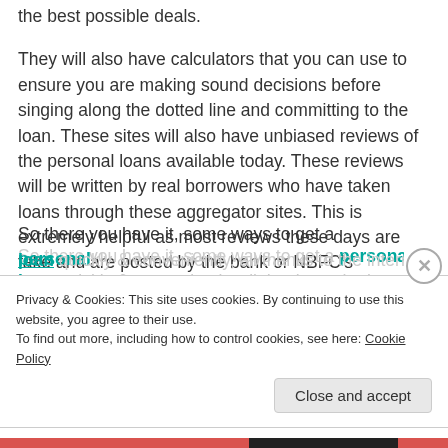the best possible deals.
They will also have calculators that you can use to ensure you are making sound decisions before singing along the dotted line and committing to the loan. These sites will also have unbiased reviews of the personal loans available today. These reviews will be written by real borrowers who have taken loans through these aggregator sites. This is extremely helpful as most reviews these days are fake and are posted by the bank or NBFC's marketing agency to create a better online reputation.
So there you have it, some ways to get a personal loan quickly & conveniently, all thanks to the internet
Privacy & Cookies: This site uses cookies. By continuing to use this website, you agree to their use.
To find out more, including how to control cookies, see here: Cookie Policy
Close and accept